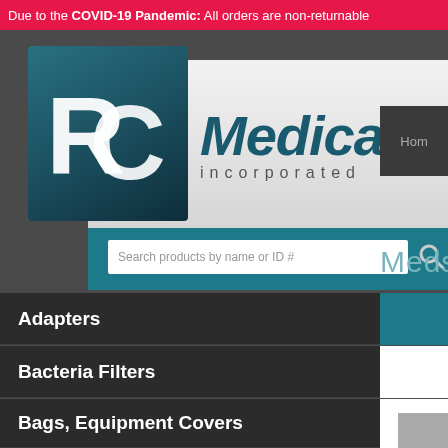Due to the COVID-19 Pandemic: All orders are non-returnable
[Figure (logo): RC Medical Incorporated logo with white RC letters on dark teal/blue square background, and text 'Medical incorporated' in teal]
Hom
Search products by name or ID #
Medsta
Adapters
Bacteria Filters
Bags, Equipment Covers